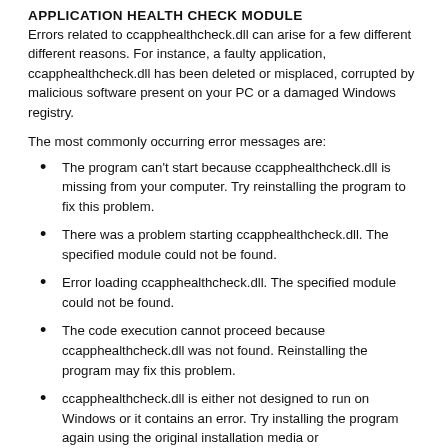APPLICATION HEALTH CHECK MODULE
Errors related to ccapphealthcheck.dll can arise for a few different different reasons. For instance, a faulty application, ccapphealthcheck.dll has been deleted or misplaced, corrupted by malicious software present on your PC or a damaged Windows registry.
The most commonly occurring error messages are:
The program can't start because ccapphealthcheck.dll is missing from your computer. Try reinstalling the program to fix this problem.
There was a problem starting ccapphealthcheck.dll. The specified module could not be found.
Error loading ccapphealthcheck.dll. The specified module could not be found.
The code execution cannot proceed because ccapphealthcheck.dll was not found. Reinstalling the program may fix this problem.
ccapphealthcheck.dll is either not designed to run on Windows or it contains an error. Try installing the program again using the original installation media or